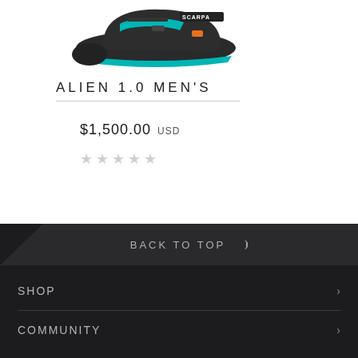[Figure (photo): Scarpa Alien 1.0 ski boot / mountaineering boot shown from the side, dark grey with teal and orange accents, SCARPA branding visible]
Alien 1.0 Men's
$1,500.00 USD
★★★★★ (empty stars rating)
BACK TO TOP  SHOP  COMMUNITY